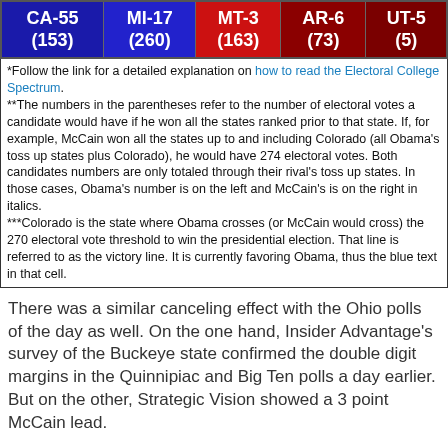| CA-55 (153) | MI-17 (260) | MT-3 (163) | AR-6 (73) | UT-5 (5) |
| --- | --- | --- | --- | --- |
*Follow the link for a detailed explanation on how to read the Electoral College Spectrum.
**The numbers in the parentheses refer to the number of electoral votes a candidate would have if he won all the states ranked prior to that state. If, for example, McCain won all the states up to and including Colorado (all Obama's toss up states plus Colorado), he would have 274 electoral votes. Both candidates numbers are only totaled through their rival's toss up states. In those cases, Obama's number is on the left and McCain's is on the right in italics.
***Colorado is the state where Obama crosses (or McCain would cross) the 270 electoral vote threshold to win the presidential election. That line is referred to as the victory line. It is currently favoring Obama, thus the blue text in that cell.
There was a similar canceling effect with the Ohio polls of the day as well. On the one hand, Insider Advantage's survey of the Buckeye state confirmed the double digit margins in the Quinnipiac and Big Ten polls a day earlier. But on the other, Strategic Vision showed a 3 point McCain lead.